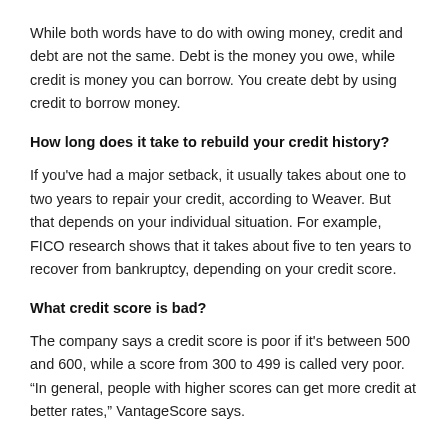While both words have to do with owing money, credit and debt are not the same. Debt is the money you owe, while credit is money you can borrow. You create debt by using credit to borrow money.
How long does it take to rebuild your credit history?
If you've had a major setback, it usually takes about one to two years to repair your credit, according to Weaver. But that depends on your individual situation. For example, FICO research shows that it takes about five to ten years to recover from bankruptcy, depending on your credit score.
What credit score is bad?
The company says a credit score is poor if it's between 500 and 600, while a score from 300 to 499 is called very poor. "In general, people with higher scores can get more credit at better rates," VantageScore says.